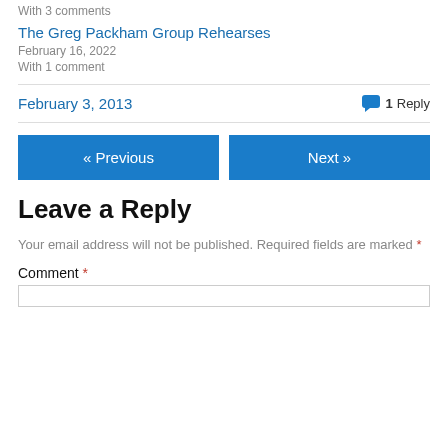With 3 comments
The Greg Packham Group Rehearses
February 16, 2022
With 1 comment
February 3, 2013
1 Reply
« Previous
Next »
Leave a Reply
Your email address will not be published. Required fields are marked *
Comment *